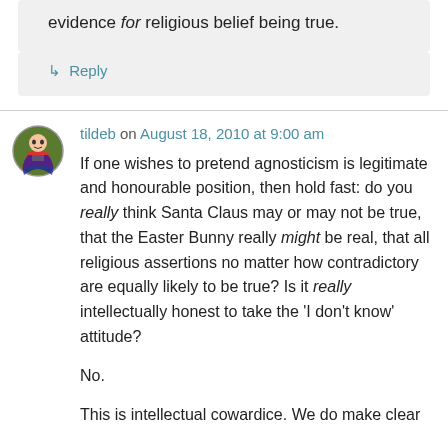evidence for religious belief being true.
↳ Reply
tildeb on August 18, 2010 at 9:00 am
If one wishes to pretend agnosticism is legitimate and honourable position, then hold fast: do you really think Santa Claus may or may not be true, that the Easter Bunny really might be real, that all religious assertions no matter how contradictory are equally likely to be true? Is it really intellectually honest to take the 'I don't know' attitude?
No.
This is intellectual cowardice. We do make clear